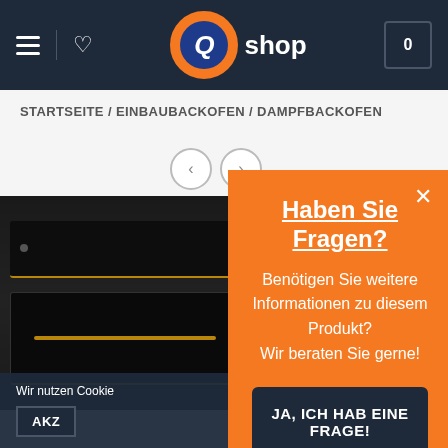[Figure (screenshot): Q-shop website header with dark navy background, hamburger menu, heart icon, Q-shop logo (orange circle with blue Q letter and 'shop' text), and cart icon showing 0]
STARTSEITE / EINBAUBACKOFEN / DAMPFBACKOFEN
[Figure (photo): Black built-in oven product image with gold/bronze trim handles]
Wir nutzen Cookie
AKZ
Haben Sie Fragen?
Benötigen Sie weitere Informationen zu diesem Produkt? Wir beraten Sie gerne!
JA, ICH HAB EINE FRAGE!